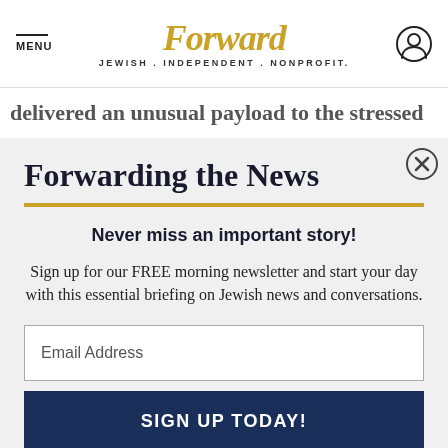MENU | Forward | JEWISH . INDEPENDENT . NONPROFIT.
delivered an unusual payload to the stressed
Forwarding the News
Never miss an important story!
Sign up for our FREE morning newsletter and start your day with this essential briefing on Jewish news and conversations.
Email Address
SIGN UP TODAY!